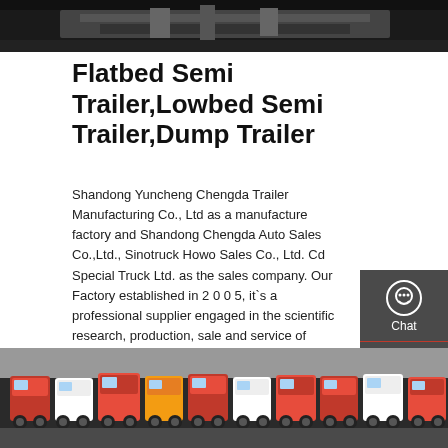[Figure (photo): Top portion of a truck/trailer vehicle, dark background, partial view from above]
Flatbed Semi Trailer,Lowbed Semi Trailer,Dump Trailer
Shandong Yuncheng Chengda Trailer Manufacturing Co., Ltd as a manufacture factory and Shandong Chengda Auto Sales Co.,Ltd., Sinotruck Howo Sales Co., Ltd. Cd Special Truck Ltd. as the sales company. Our Factory established in 2 0 0 5, it`s a professional supplier engaged in the scientific research, production, sale and service of various of semi trailers, trucks and trailer and truck spare
[Figure (other): Sidebar with Chat, Email, Contact icons on dark grey background]
GET A QUOTE
[Figure (photo): Bottom photo showing a yard full of red and white trucks and trailers parked together]